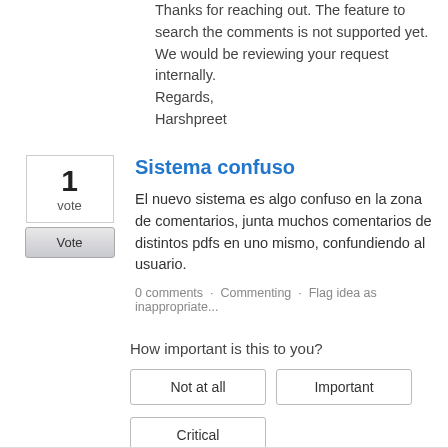Thanks for reaching out. The feature to search the comments is not supported yet. We would be reviewing your request internally.
Regards,
Harshpreet
Sistema confuso
El nuevo sistema es algo confuso en la zona de comentarios, junta muchos comentarios de distintos pdfs en uno mismo, confundiendo al usuario.
0 comments · Commenting · Flag idea as inappropriate...
How important is this to you?
Not at all
Important
Critical